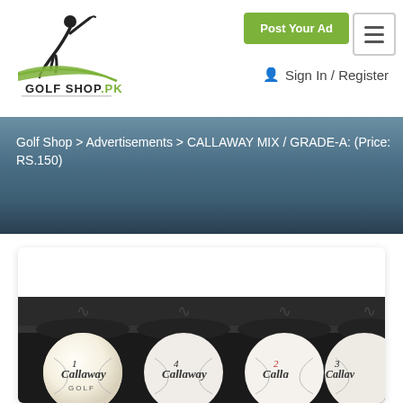[Figure (logo): Golf Shop PK logo with golfer silhouette and swoosh]
Post Your Ad
Sign In / Register
Golf Shop > Advertisements > CALLAWAY MIX / GRADE-A: (Price: RS.150)
[Figure (photo): Four Callaway golf balls numbered 1, 4, 2, 3 displayed in a row on a dark background]